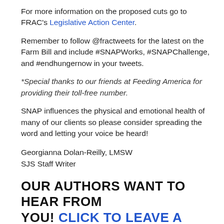For more information on the proposed cuts go to FRAC's Legislative Action Center.
Remember to follow @fractweets for the latest on the Farm Bill and include #SNAPWorks, #SNAPChallenge, and #endhungernow in your tweets.
*Special thanks to our friends at Feeding America for providing their toll-free number.
SNAP influences the physical and emotional health of many of our clients so please consider spreading the word and letting your voice be heard!
Georgianna Dolan-Reilly, LMSW
SJS Staff Writer
OUR AUTHORS WANT TO HEAR FROM YOU! CLICK TO LEAVE A COMMENT